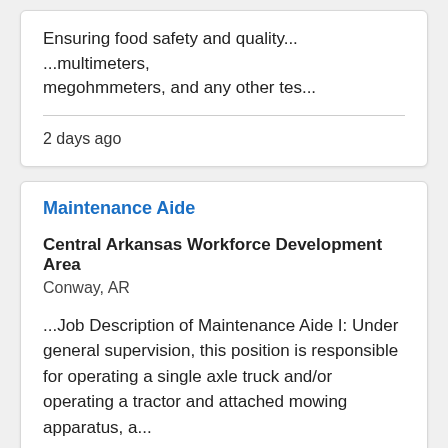Ensuring food safety and quality...  ...multimeters, megohmmeters, and any other tes...
2 days ago
Maintenance Aide
Central Arkansas Workforce Development Area
Conway, AR
...Job Description of Maintenance Aide I: Under general supervision, this position is responsible for operating a single axle truck and/or operating a tractor and attached mowing apparatus, a...